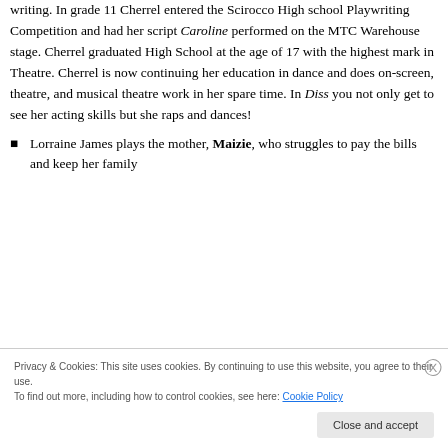writing. In grade 11 Cherrel entered the Scirocco High school Playwriting Competition and had her script Caroline performed on the MTC Warehouse stage. Cherrel graduated High School at the age of 17 with the highest mark in Theatre. Cherrel is now continuing her education in dance and does on-screen, theatre, and musical theatre work in her spare time. In Diss you not only get to see her acting skills but she raps and dances!
Lorraine James plays the mother, Maizie, who struggles to pay the bills and keep her family
Privacy & Cookies: This site uses cookies. By continuing to use this website, you agree to their use.
To find out more, including how to control cookies, see here: Cookie Policy